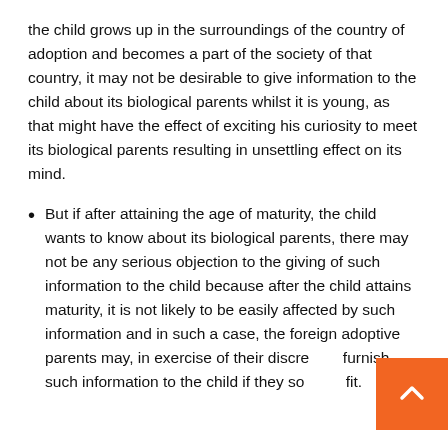the child grows up in the surroundings of the country of adoption and becomes a part of the society of that country, it may not be desirable to give information to the child about its biological parents whilst it is young, as that might have the effect of exciting his curiosity to meet its biological parents resulting in unsettling effect on its mind.
But if after attaining the age of maturity, the child wants to know about its biological parents, there may not be any serious objection to the giving of such information to the child because after the child attains maturity, it is not likely to be easily affected by such information and in such a case, the foreign adoptive parents may, in exercise of their discre[tion,] furnish such information to the child if they so [think] fit.